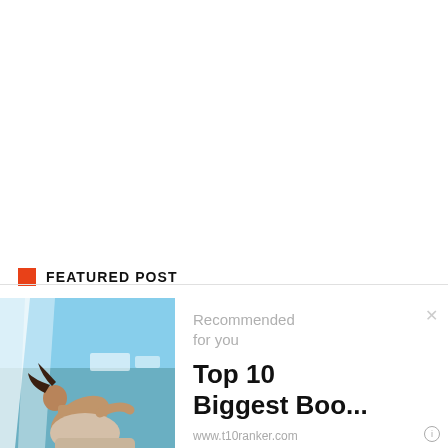FEATURED POST
[Figure (photo): A woman leaning back outdoors near water with light fabric in background, blue sky and sea visible]
Recommended for you
Top 10 Biggest Boo...
www.t10ranker.com